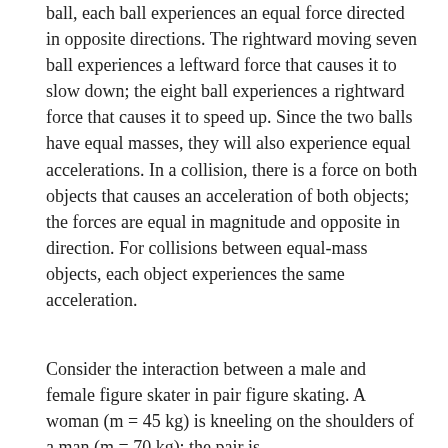ball, each ball experiences an equal force directed in opposite directions. The rightward moving seven ball experiences a leftward force that causes it to slow down; the eight ball experiences a rightward force that causes it to speed up. Since the two balls have equal masses, they will also experience equal accelerations. In a collision, there is a force on both objects that causes an acceleration of both objects; the forces are equal in magnitude and opposite in direction. For collisions between equal-mass objects, each object experiences the same acceleration.
Consider the interaction between a male and female figure skater in pair figure skating. A woman (m = 45 kg) is kneeling on the shoulders of a man (m = 70 kg); the pair is